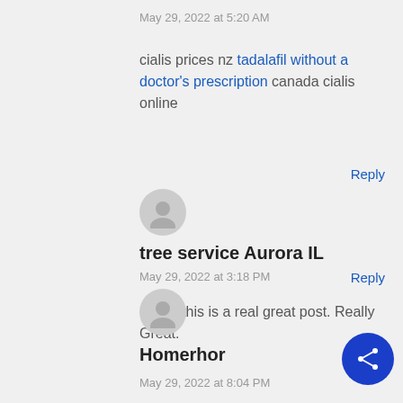May 29, 2022 at 5:20 AM
cialis prices nz tadalafil without a doctor's prescription canada cialis online
Reply
tree service Aurora IL
May 29, 2022 at 3:18 PM
I think this is a real great post. Really Great.
Reply
Homerhor
May 29, 2022 at 8:04 PM